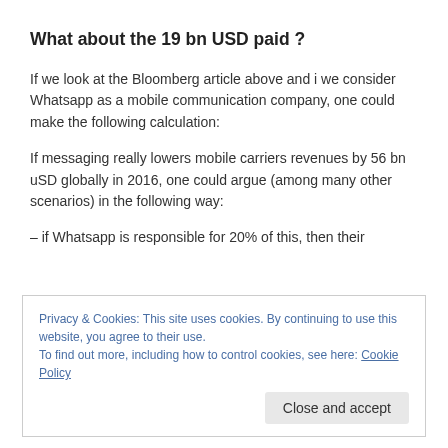What about the 19 bn USD paid ?
If we look at the Bloomberg article above and i we consider Whatsapp as a mobile communication company, one could make the following calculation:
If messaging really lowers mobile carriers revenues by 56 bn uSD globally in 2016, one could argue (among many other scenarios) in the following way:
– if Whatsapp is responsible for 20% of this, then their
Privacy & Cookies: This site uses cookies. By continuing to use this website, you agree to their use.
To find out more, including how to control cookies, see here: Cookie Policy
– as the costs seem to be low (they don't need to buy